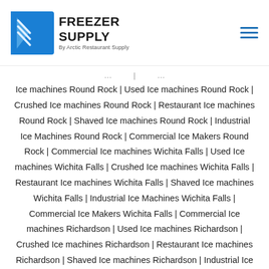Freezer Supply by Arctic Restaurant Supply - logo and navigation
Ice machines Round Rock | Used Ice machines Round Rock | Crushed Ice machines Round Rock | Restaurant Ice machines Round Rock | Shaved Ice machines Round Rock | Industrial Ice Machines Round Rock | Commercial Ice Makers Round Rock | Commercial Ice machines Wichita Falls | Used Ice machines Wichita Falls | Crushed Ice machines Wichita Falls | Restaurant Ice machines Wichita Falls | Shaved Ice machines Wichita Falls | Industrial Ice Machines Wichita Falls | Commercial Ice Makers Wichita Falls | Commercial Ice machines Richardson | Used Ice machines Richardson | Crushed Ice machines Richardson | Restaurant Ice machines Richardson | Shaved Ice machines Richardson | Industrial Ice Machines Richardson | Commercial Ice Makers Richardson | Commercial Ice machines Lewisville | Used Ice machines Lewisville | Crushed Ice machines Lewisville | Restaurant Ice machines Lewisville | Shaved